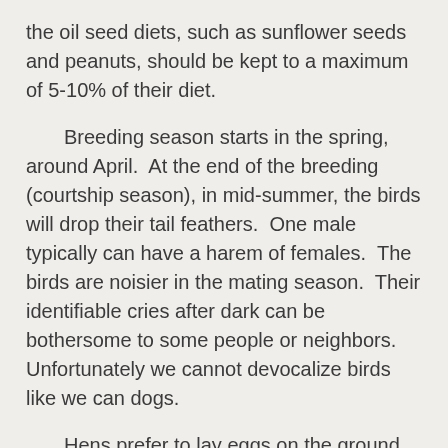the oil seed diets, such as sunflower seeds and peanuts, should be kept to a maximum of 5-10% of their diet.
Breeding season starts in the spring, around April.  At the end of the breeding (courtship season), in mid-summer, the birds will drop their tail feathers.  One male typically can have a harem of females.  The birds are noisier in the mating season.  Their identifiable cries after dark can be bothersome to some people or neighbors.  Unfortunately we cannot devocalize birds like we can dogs.
Hens prefer to lay eggs on the ground. A clutch of eggs may range from 4-12, with 6 being average.  The incubation period lasts approximately 1 month (28 days).  Some hens may have 2 sets of eggs in a year.  We have baby bird formulas and directions if you have an orphan bird.  Baby birds can be started on a starter mix if desired